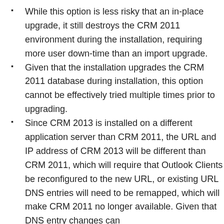While this option is less risky that an in-place upgrade, it still destroys the CRM 2011 environment during the installation, requiring more user down-time than an import upgrade.
Given that the installation upgrades the CRM 2011 database during installation, this option cannot be effectively tried multiple times prior to upgrading.
Since CRM 2013 is installed on a different application server than CRM 2011, the URL and IP address of CRM 2013 will be different than CRM 2011, which will require that Outlook Clients be reconfigured to the new URL, or existing URL DNS entries will need to be remapped, which will make CRM 2011 no longer available. Given that DNS entry changes can